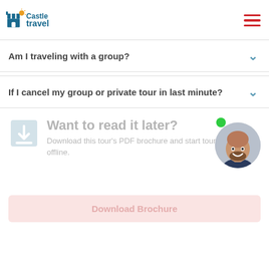Castle Travel
Am I traveling with a group?
If I cancel my group or private tour in last minute?
Want to read it later?
Download this tour's PDF brochure and start tour planning offline.
Download Brochure